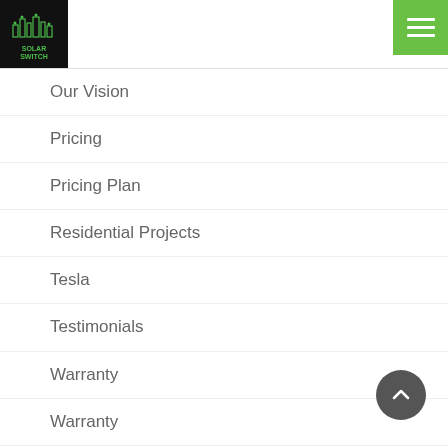Solar Switch logo and hamburger menu
Our Vision
Pricing
Pricing Plan
Residential Projects
Tesla
Testimonials
Warranty
Warranty
What System Size?